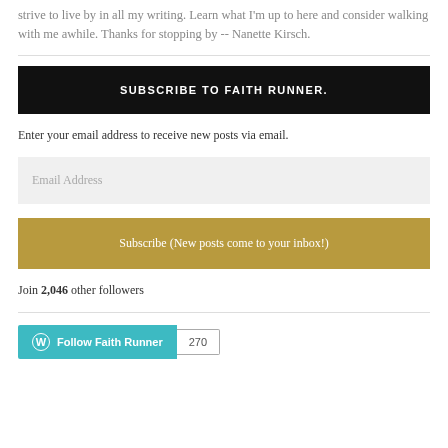strive to live by in all my writing. Learn what I'm up to here and consider walking with me awhile. Thanks for stopping by -- Nanette Kirsch.
SUBSCRIBE TO FAITH RUNNER.
Enter your email address to receive new posts via email.
Email Address
Subscribe (New posts come to your inbox!)
Join 2,046 other followers
[Figure (other): Follow Faith Runner button with WordPress logo and follower count badge showing 270]